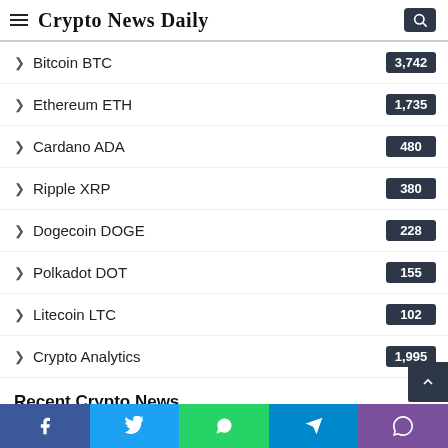Crypto News Daily
Bitcoin BTC
Ethereum ETH
Cardano ADA
Ripple XRP
Dogecoin DOGE
Polkadot DOT
Litecoin LTC
Crypto Analytics
Recent Crypto News
Can Stargate Finance (STG) continue its winning streak?